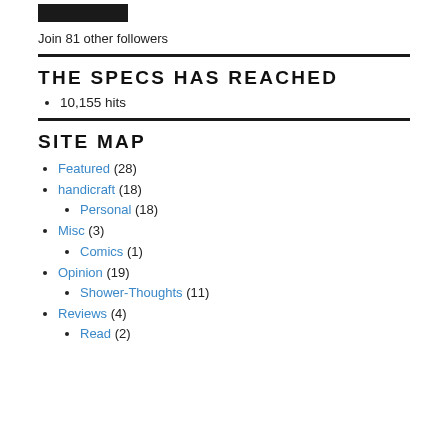[Figure (other): Black filled rectangle button (e.g. Follow button)]
Join 81 other followers
THE SPECS HAS REACHED
10,155 hits
SITE MAP
Featured (28)
handicraft (18)
Personal (18)
Misc (3)
Comics (1)
Opinion (19)
Shower-Thoughts (11)
Reviews (4)
Read (2)